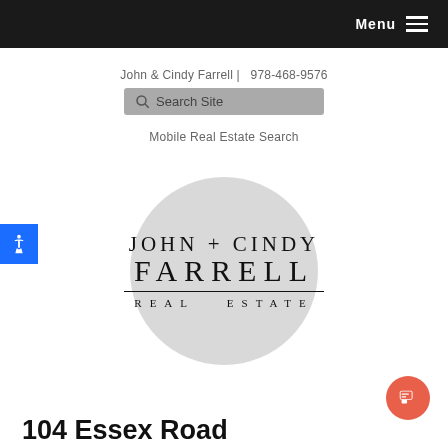Menu
John & Cindy Farrell |  978-468-9576
Search Site
Mobile Real Estate Search
[Figure (logo): John + Cindy Farrell Real Estate logo with large text and a grey circle background]
104 Essex Road